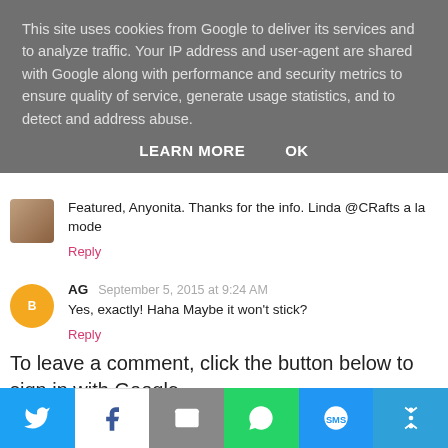This site uses cookies from Google to deliver its services and to analyze traffic. Your IP address and user-agent are shared with Google along with performance and security metrics to ensure quality of service, generate usage statistics, and to detect and address abuse.
LEARN MORE    OK
Featured, Anyonita. Thanks for the info. Linda @CRafts a la mode
Reply
AG    September 5, 2015 at 9:24 AM
Yes, exactly! Haha Maybe it won't stick?
Reply
To leave a comment, click the button below to sign in with Google.
SIGN IN WITH GOOGLE